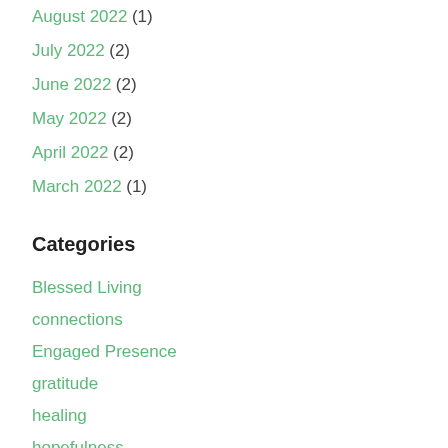August 2022 (1)
July 2022 (2)
June 2022 (2)
May 2022 (2)
April 2022 (2)
March 2022 (1)
Categories
Blessed Living
connections
Engaged Presence
gratitude
healing
hopefulness
joy
listening
love